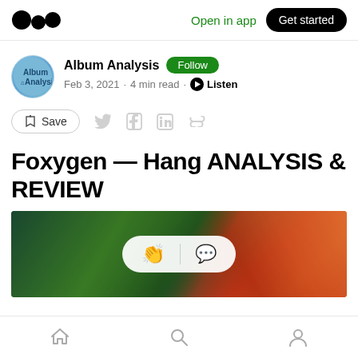Medium logo | Open in app | Get started
Album Analysis · Follow · Feb 3, 2021 · 4 min read · Listen
Save (bookmark icon) · Twitter · Facebook · LinkedIn · Link
Foxygen — Hang ANALYSIS & REVIEW
[Figure (photo): Album cover or article hero image showing colorful abstract or nature scene with green, blue and orange/red tones, with a clapping/comment reaction bar overlay]
Home · Search · Profile (bottom navigation icons)